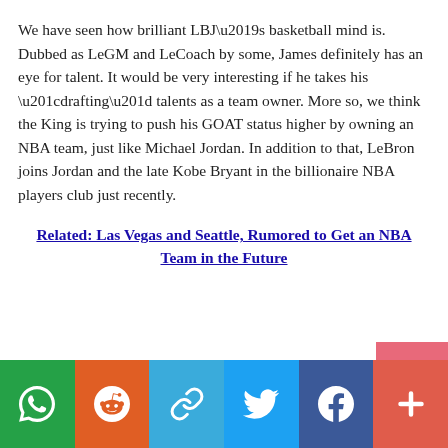We have seen how brilliant LBJ’s basketball mind is. Dubbed as LeGM and LeCoach by some, James definitely has an eye for talent. It would be very interesting if he takes his “drafting” talents as a team owner. More so, we think the King is trying to push his GOAT status higher by owning an NBA team, just like Michael Jordan. In addition to that, LeBron joins Jordan and the late Kobe Bryant in the billionaire NBA players club just recently.
Related: Las Vegas and Seattle, Rumored to Get an NBA Team in the Future
Social share bar: WhatsApp, Reddit, Copy, Twitter, Facebook, More